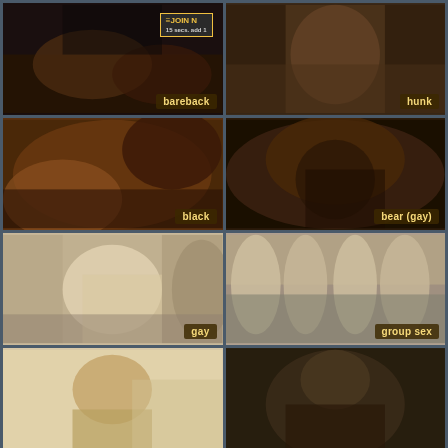[Figure (photo): Adult content thumbnail with 'bareback' tag, JOIN NOW banner visible top right]
[Figure (photo): Adult content thumbnail with 'hunk' tag]
[Figure (photo): Adult content thumbnail with 'black' tag]
[Figure (photo): Adult content thumbnail with 'bear (gay)' tag]
[Figure (photo): Adult content thumbnail with 'gay' tag]
[Figure (photo): Adult content thumbnail with 'group sex' tag]
[Figure (photo): Adult content thumbnail, bottom left, no visible tag]
[Figure (photo): Adult content thumbnail, bottom right, no visible tag]